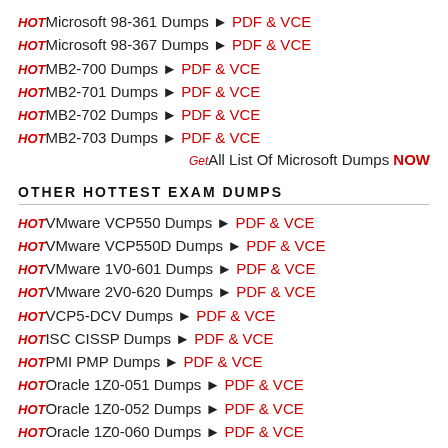HOT Microsoft 98-361 Dumps ▶ PDF & VCE
HOT Microsoft 98-367 Dumps ▶ PDF & VCE
HOT MB2-700 Dumps ▶ PDF & VCE
HOT MB2-701 Dumps ▶ PDF & VCE
HOT MB2-702 Dumps ▶ PDF & VCE
HOT MB2-703 Dumps ▶ PDF & VCE
Get All List Of Microsoft Dumps NOW
OTHER HOTTEST EXAM DUMPS
HOT VMware VCP550 Dumps ▶ PDF & VCE
HOT VMware VCP550D Dumps ▶ PDF & VCE
HOT VMware 1V0-601 Dumps ▶ PDF & VCE
HOT VMware 2V0-620 Dumps ▶ PDF & VCE
HOT VCP5-DCV Dumps ▶ PDF & VCE
HOT ISC CISSP Dumps ▶ PDF & VCE
HOT PMI PMP Dumps ▶ PDF & VCE
HOT Oracle 1Z0-051 Dumps ▶ PDF & VCE
HOT Oracle 1Z0-052 Dumps ▶ PDF & VCE
HOT Oracle 1Z0-060 Dumps ▶ PDF & VCE